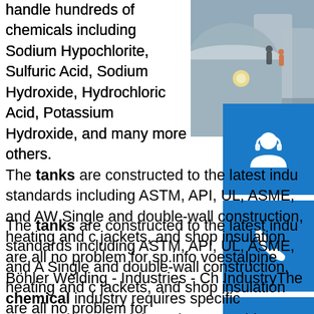handle hundreds of chemicals including Sodium Hypochlorite, Sulfuric Acid, Sodium Hydroxide, Hydrochloric Acid, Potassium Hydroxide, and many more others. The tanks are constructed to the latest industry standards including ASTM, API, UL, ASME, and AW. Single and double-wall construction, heating and cooling jackets, and shop insulation are all no problem for sp.info voestalpine Böhler Welding - Industries - Chemical IndustryThe chemical industry requires specific construction materials and uses a wide range of corrosion resistant alloys in equipment exposed to highly corrosive environments, high pressures and temperatures in vessels, tanks, valves, pumps, compressors, agitators, etc. voestalpine Böhler Welding operates in every area of the chemical industry and supplies specifically designed welding consumables ...sp.info Mining and metallurgy
[Figure (photo): Industrial chemical storage tanks, large white cylindrical tanks with workers on top visible from a distance, foggy/hazy atmosphere]